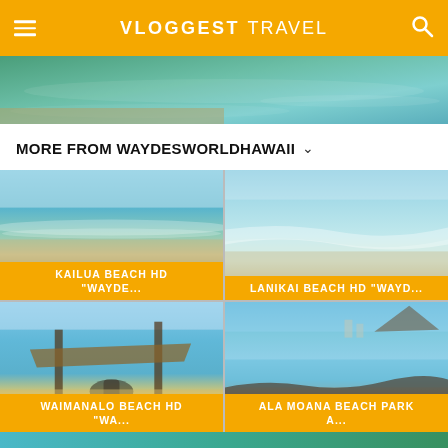VLOGGEST TRAVEL
[Figure (photo): Partial beach/travel image strip at top]
MORE FROM WAYDESWORLDHAWAII
[Figure (photo): Kailua Beach HD thumbnail - sandy beach with turquoise water]
KAILUA BEACH HD "WAYDE...
[Figure (photo): Lanikai Beach HD thumbnail - waves on sandy shore]
LANIKAI BEACH HD "WAYD...
[Figure (photo): Waimanalo Beach HD thumbnail - person sitting under thatched hut]
WAIMANALO BEACH HD "WA...
[Figure (photo): Ala Moana Beach Park thumbnail - rocky shore with mountain in background]
ALA MOANA BEACH PARK A...